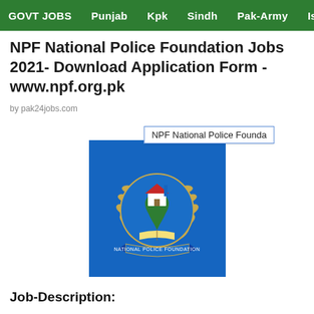GOVT JOBS  Punjab  Kpk  Sindh  Pak-Army  Islam
NPF National Police Foundation Jobs 2021- Download Application Form - www.npf.org.pk
by pak24jobs.com
[Figure (logo): NPF National Police Foundation logo on blue background with wheat wreath and Pakistan map with house icon]
Job-Description:
National Police Foundation Jobs 2021 NPF Jobs 2021
Latest Jobs, to hire a suitable and qualified Candidate for the positions of. For Deputy Director Housing, posts in